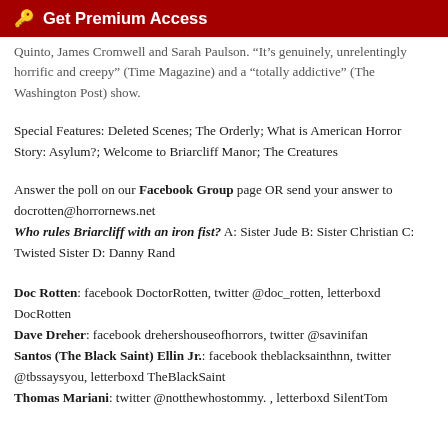Get Premium Access
Quinto, James Cromwell and Sarah Paulson. "It's genuinely, unrelentingly horrific and creepy" (Time Magazine) and a "totally addictive" (The Washington Post) show.
Special Features: Deleted Scenes; The Orderly; What is American Horror Story: Asylum?; Welcome to Briarcliff Manor; The Creatures
Answer the poll on our Facebook Group page OR send your answer to docrotten@horrornews.net
Who rules Briarcliff with an iron fist? A: Sister Jude B: Sister Christian C: Twisted Sister D: Danny Rand
Doc Rotten: facebook DoctorRotten, twitter @doc_rotten, letterboxd DocRotten
Dave Dreher: facebook drehershouseofhorrors, twitter @savinifan
Santos (The Black Saint) Ellin Jr.: facebook theblacksainthnn, twitter @tbssaysyou, letterboxd TheBlackSaint
Thomas Mariani: twitter @notthewhostommy. , letterboxd SilentTom